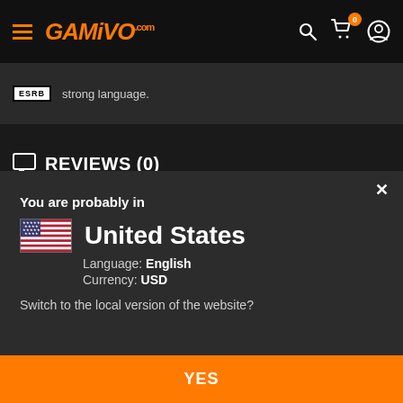[Figure (screenshot): GAMIVO.COM website navigation bar with hamburger menu, orange logo, search, cart with 0 badge, and profile icon]
strong language.
REVIEWS (0)
You are probably in
United States
Language: English
Currency: USD
Switch to the local version of the website?
YES